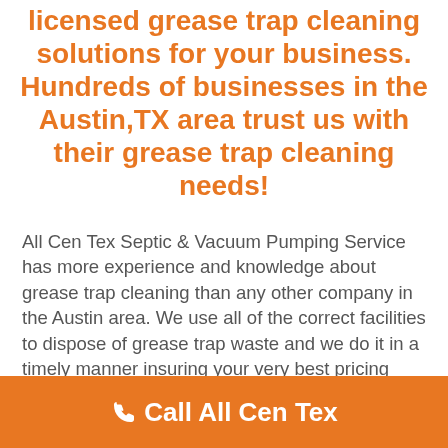licensed grease trap cleaning solutions for your business. Hundreds of businesses in the Austin,TX area trust us with their grease trap cleaning needs!
All Cen Tex Septic & Vacuum Pumping Service has more experience and knowledge about grease trap cleaning than any other company in the Austin area. We use all of the correct facilities to dispose of grease trap waste and we do it in a timely manner insuring your very best pricing available.
☎ Call All Cen Tex